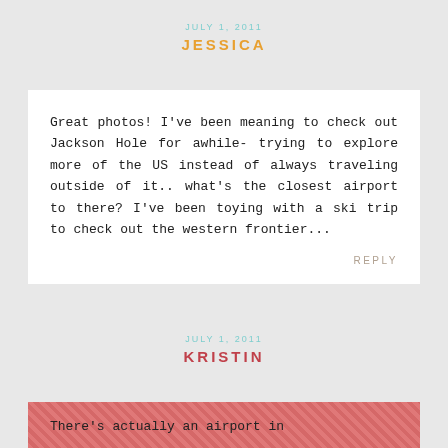JULY 1, 2011
JESSICA
Great photos! I've been meaning to check out Jackson Hole for awhile- trying to explore more of the US instead of always traveling outside of it.. what's the closest airport to there? I've been toying with a ski trip to check out the western frontier...
REPLY
JULY 1, 2011
KRISTIN
There's actually an airport in